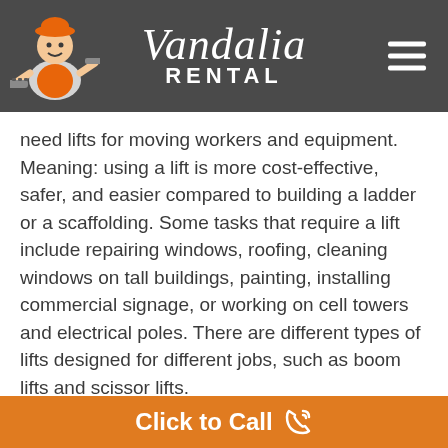[Figure (logo): Vandalia Rental logo with cartoon worker holding a chainsaw and the text 'Vandalia RENTAL' in white on a dark gray header bar with hamburger menu icon]
need lifts for moving workers and equipment. Meaning: using a lift is more cost-effective, safer, and easier compared to building a ladder or a scaffolding. Some tasks that require a lift include repairing windows, roofing, cleaning windows on tall buildings, painting, installing commercial signage, or working on cell towers and electrical poles. There are different types of lifts designed for different jobs, such as boom lifts and scissor lifts.
So, which is the right lift for your job? Here is a
Click to Call